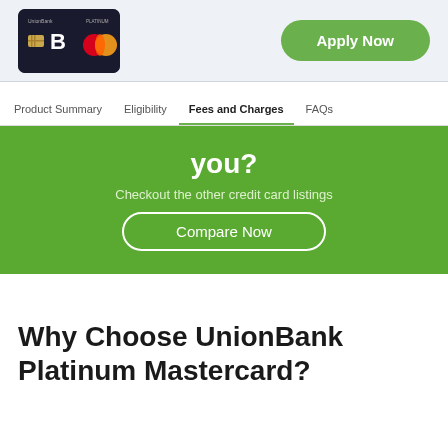[Figure (photo): UnionBank credit card image - dark/black card with chip and Mastercard logo]
Apply Now
Product Summary | Eligibility | Fees and Charges | FAQs
you?
Checkout the other credit card listings
Compare Now
Why Choose UnionBank Platinum Mastercard?